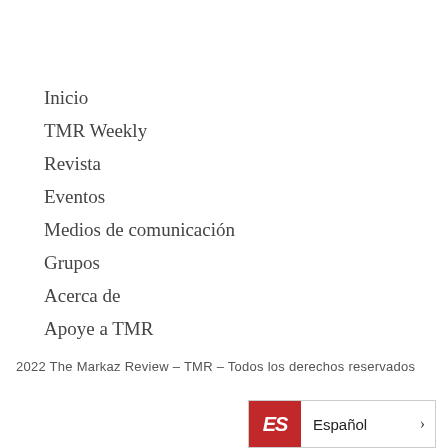Inicio
TMR Weekly
Revista
Eventos
Medios de comunicación
Grupos
Acerca de
Apoye a TMR
2022 The Markaz Review – TMR – Todos los derechos reservados
[Figure (other): Language selector button showing red ES flag icon and 'Español' label with a chevron arrow]